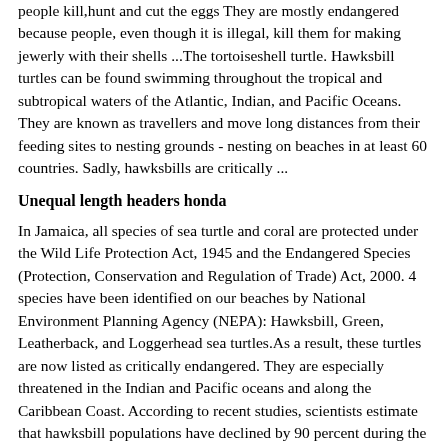people kill,hunt and eat the eggs They are mostly endangered because people, even though it is illegal, kill them for making jewerly with their shells ...The tortoiseshell turtle. Hawksbill turtles can be found swimming throughout the tropical and subtropical waters of the Atlantic, Indian, and Pacific Oceans. They are known as travellers and move long distances from their feeding sites to nesting grounds - nesting on beaches in at least 60 countries. Sadly, hawksbills are critically ...
Unequal length headers honda
In Jamaica, all species of sea turtle and coral are protected under the Wild Life Protection Act, 1945 and the Endangered Species (Protection, Conservation and Regulation of Trade) Act, 2000. 4 species have been identified on our beaches by National Environment Planning Agency (NEPA): Hawksbill, Green, Leatherback, and Loggerhead sea turtles.As a result, these turtles are now listed as critically endangered. They are especially threatened in the Indian and Pacific oceans and along the Caribbean Coast. According to recent studies, scientists estimate that hawksbill populations have declined by 90 percent during the past 100 years.Scientists are focusing their research on the Hawaiian hawksbill sea turtle in an effort to bring back the endangered population and are making some interest...
Classified as endangered so they are there are problems...